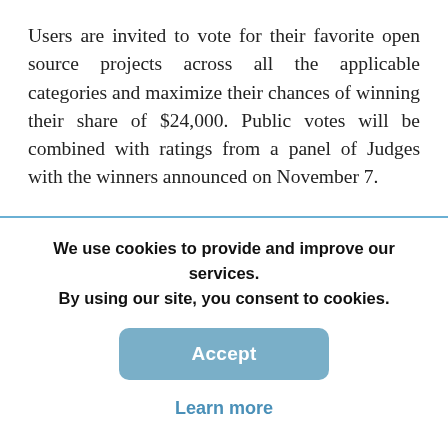Users are invited to vote for their favorite open source projects across all the applicable categories and maximize their chances of winning their share of $24,000. Public votes will be combined with ratings from a panel of Judges with the winners announced on November 7.

Packt is giving away an Amazon Kindle to a lucky winner chosen randomly from the voting stage. To ensure you have a chance of winning, vote now.
We use cookies to provide and improve our services. By using our site, you consent to cookies.
Accept
Learn more